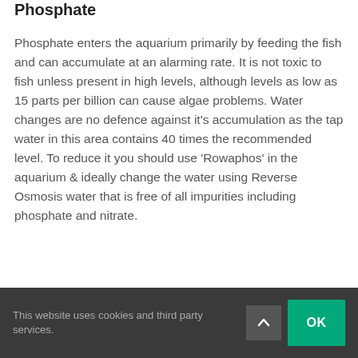Phosphate
Phosphate enters the aquarium primarily by feeding the fish and can accumulate at an alarming rate. It is not toxic to fish unless present in high levels, although levels as low as 15 parts per billion can cause algae problems. Water changes are no defence against it's accumulation as the tap water in this area contains 40 times the recommended level. To reduce it you should use 'Rowaphos' in the aquarium & ideally change the water using Reverse Osmosis water that is free of all impurities including phosphate and nitrate.
Due to restrictions of space this publication only gives basic information about water quality, for further information
This website uses cookies and third party services.